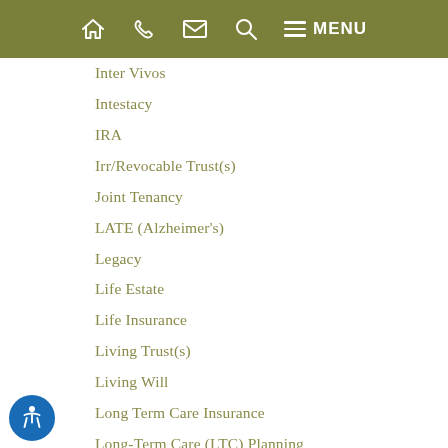Home | Phone | Email | Search | Menu
Inter Vivos
Intestacy
IRA
Irr/Revocable Trust(s)
Joint Tenancy
LATE (Alzheimer's)
Legacy
Life Estate
Life Insurance
Living Trust(s)
Living Will
Long Term Care Insurance
Long-Term Care (LTC) Planning
Medicaid
Medical Records
Medicare
News
Nursing Home
PACE (Program of All-Inclusive Care for the Elderly)
Pension